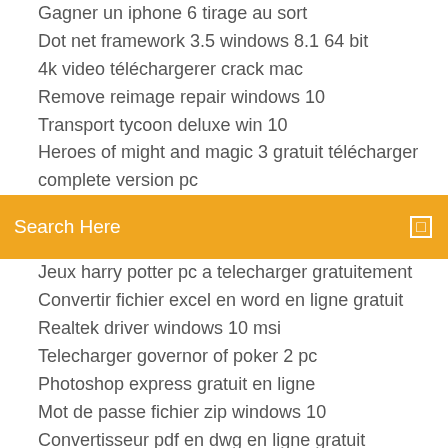Gagner un iphone 6 tirage au sort
Dot net framework 3.5 windows 8.1 64 bit
4k video téléchargerer crack mac
Remove reimage repair windows 10
Transport tycoon deluxe win 10
Heroes of might and magic 3 gratuit télécharger complete version pc
Search Here
Jeux harry potter pc a telecharger gratuitement
Convertir fichier excel en word en ligne gratuit
Realtek driver windows 10 msi
Telecharger governor of poker 2 pc
Photoshop express gratuit en ligne
Mot de passe fichier zip windows 10
Convertisseur pdf en dwg en ligne gratuit
Internet explorer 9 for windows 7 32 bit عربي
Télécharger euro truck simulator 2 gratuit complet
Internet explorer 8 windows xp français